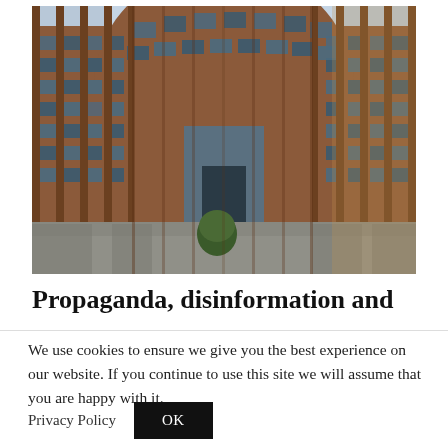[Figure (photo): Exterior photograph of a large curved modern building with distinctive red/brown brick columns and rows of glass windows, likely the European Parliament building. A topiary bush is visible in the foreground courtyard.]
Propaganda, disinformation and
We use cookies to ensure we give you the best experience on our website. If you continue to use this site we will assume that you are happy with it.
Privacy Policy  OK